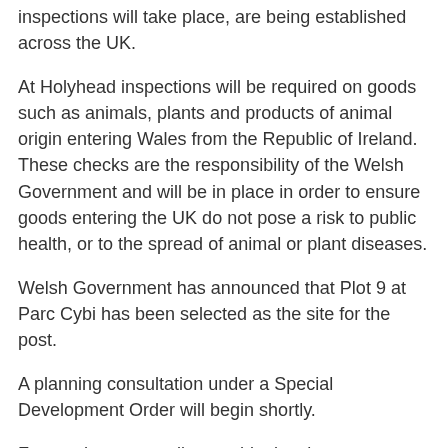inspections will take place, are being established across the UK.
At Holyhead inspections will be required on goods such as animals, plants and products of animal origin entering Wales from the Republic of Ireland. These checks are the responsibility of the Welsh Government and will be in place in order to ensure goods entering the UK do not pose a risk to public health, or to the spread of animal or plant diseases.
Welsh Government has announced that Plot 9 at Parc Cybi has been selected as the site for the post.
A planning consultation under a Special Development Order will begin shortly.
For much more reading on this development, NorthWalesLive reports including an image of the BCP plot site.